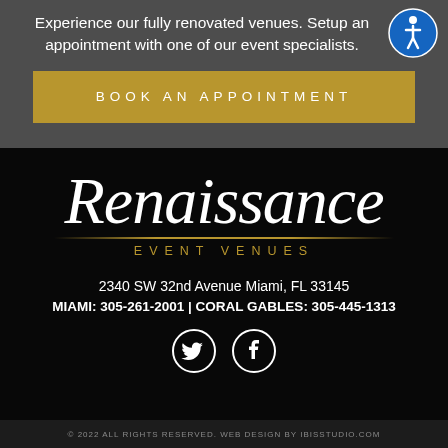Experience our fully renovated venues. Setup an appointment with one of our event specialists.
BOOK AN APPOINTMENT
[Figure (logo): Renaissance Event Venues logo with ornate script 'Renaissance' in white and 'EVENT VENUES' in gold below a gold divider line]
2340 SW 32nd Avenue Miami, FL 33145
MIAMI: 305-261-2001 | CORAL GABLES: 305-445-1313
[Figure (illustration): Twitter and Facebook social media icons in white circle outlines]
© 2022 ALL RIGHTS RESERVED. WEB DESIGN BY IBISSTUDIO.COM